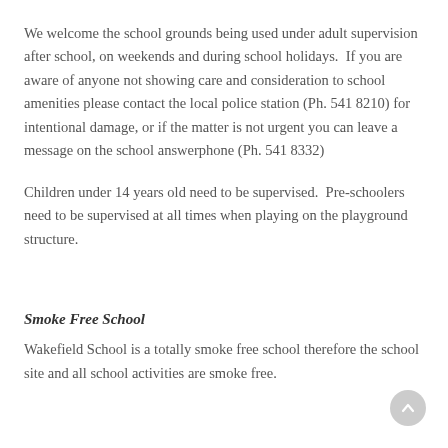We welcome the school grounds being used under adult supervision after school, on weekends and during school holidays.  If you are aware of anyone not showing care and consideration to school amenities please contact the local police station (Ph. 541 8210) for intentional damage, or if the matter is not urgent you can leave a message on the school answerphone (Ph. 541 8332)
Children under 14 years old need to be supervised.  Pre-schoolers need to be supervised at all times when playing on the playground structure.
Smoke Free School
Wakefield School is a totally smoke free school therefore the school site and all school activities are smoke free.